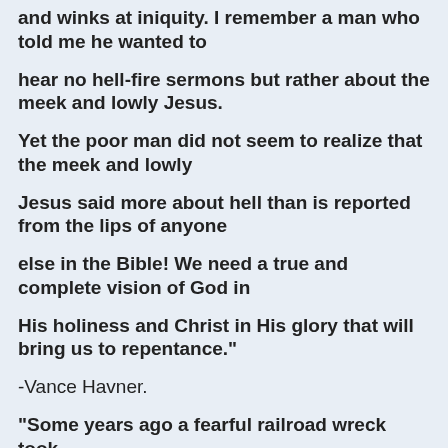and winks at iniquity. I remember a man who told me he wanted to
hear no hell-fire sermons but rather about the meek and lowly Jesus.
Yet the poor man did not seem to realize that the meek and lowly
Jesus said more about hell than is reported from the lips of anyone
else in the Bible! We need a true and complete vision of God in
His holiness and Christ in His glory that will bring us to repentance."
-Vance Havner.
"Some years ago a fearful railroad wreck took